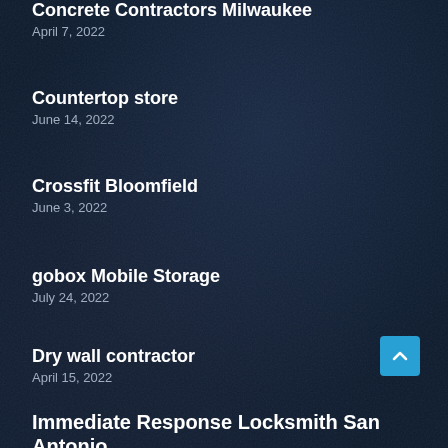Concrete Contractors Milwaukee
April 7, 2022
Countertop store
June 14, 2022
Crossfit Bloomfield
June 3, 2022
gobox Mobile Storage
July 24, 2022
Dry wall contractor
April 15, 2022
Immediate Response Locksmith San Antonio